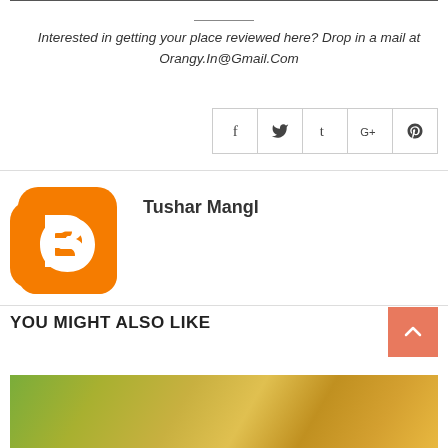Interested in getting your place reviewed here? Drop in a mail at Orangy.In@Gmail.Com
[Figure (infographic): Social media share icons: Facebook (f), Twitter (bird), Tumblr (t), Google+ (G+), Pinterest (p) — five square bordered icon buttons]
[Figure (logo): Blogger orange square logo with white B icon]
Tushar Mangl
YOU MIGHT ALSO LIKE
[Figure (photo): Blurred outdoor nature photo with green and yellow tones, partially visible at bottom of page]